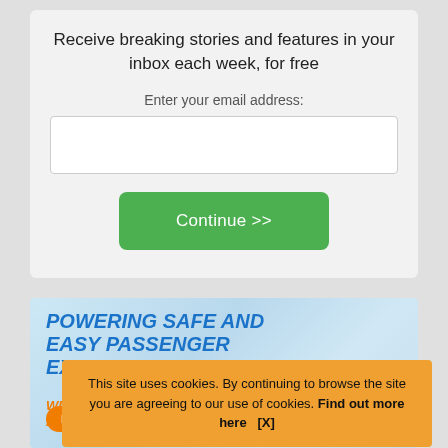Receive breaking stories and features in your inbox each week, for free
Enter your email address:
[Figure (screenshot): Email input text field (white rectangle)]
[Figure (screenshot): Green Continue >> button]
[Figure (screenshot): Advertisement banner: POWERING SAFE AND EASY PASSENGER EXPERIENCES with blue text on light blue background, WITH SITA SMART PATH AND... text in orange, and a Learn more button]
This site uses cookies. By continuing to browse the site you are agreeing to our use of cookies. Find out more here   [X]